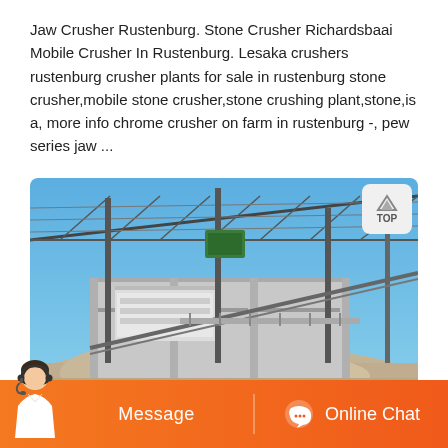Jaw Crusher Rustenburg. Stone Crusher Richardsbaai Mobile Crusher In Rustenburg. Lesaka crushers rustenburg crusher plants for sale in rustenburg stone crusher,mobile stone crusher,stone crushing plant,stone,is a, more info chrome crusher on farm in rustenburg -, pew series jaw ...
[Figure (photo): Industrial stone crushing plant facility under construction with steel frame roof structure, conveyor belts, crushing equipment visible, blue sky background, sandy ground in foreground]